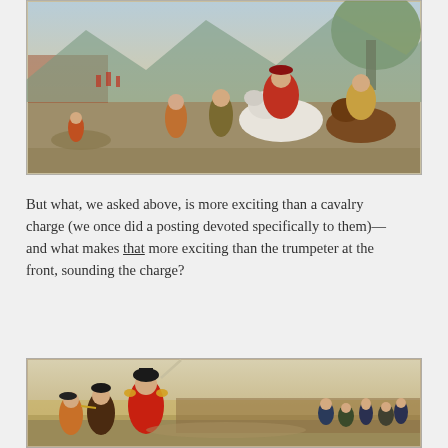[Figure (illustration): A historical painting showing military figures on horseback, with soldiers in period costume including red and gold uniforms, mounted on horses including a prominent white horse. Background shows a landscape with armies.]
But what, we asked above, is more exciting than a cavalry charge (we once did a posting devoted specifically to them)—and what makes that more exciting than the trumpeter at the front, sounding the charge?
[Figure (illustration): A historical painting depicting a cavalry charge scene with soldiers in early 19th century military uniforms, one prominently raising a sword, with a battlefield in the background.]